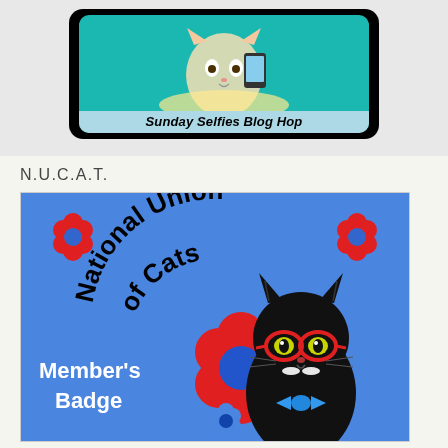[Figure (illustration): Sunday Selfies Blog Hop badge: black rounded rectangle containing a teal/turquoise square with a cartoon cat taking a selfie at the top and a light blue banner at the bottom reading 'Sunday Selfies Blog Hop' in italic bold text.]
N.U.C.A.T.
[Figure (logo): National Union of Cats (N.U.C.A.T.) Member's Badge: blue background badge with red flowers in top corners, arched text 'National Union of Cats' at top in bold black, a stylish black cat wearing red glasses and blue bow tie surrounded by red and blue floral decorations, and 'Member's Badge' text in white on the left side.]